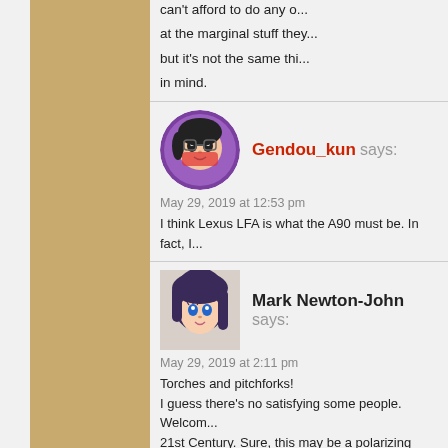can't afford to do any o... at the marginal stuff they... but it's not the same thi... in mind.
Gendou_kun says:
May 29, 2019 at 12:53 pm
I think Lexus LFA is what the A90 must be. In fact, I...
Mark Newton-John says:
May 29, 2019 at 2:11 pm
Torches and pitchforks!
I guess there's no satisfying some people. Welcome... 21st Century. Sure, this may be a polarizing issue,... 1969 they partnered with, horrors, Volkswagen to c... celebrating the 50th anniversary with museum and... and HORRORS, an SUV partnered with Audi and.... Porsche made the Cayenne it's own with a 450hp t... and Porsche's best seller. HOLY CRAP, LOIS, a se... success, showing Porsche can still engineer a spo... So now you have Toyota teaming up with BMW. Ev... against. Hate the Supra? Gotta be all Toyota? The...